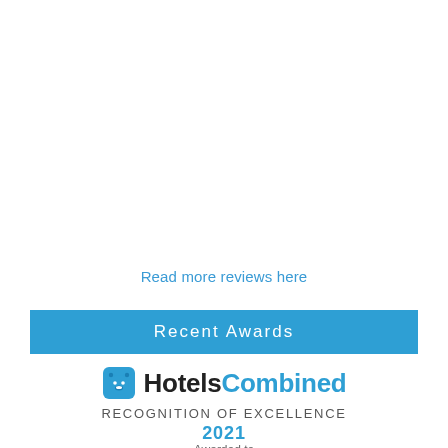Read more reviews here
Recent Awards
[Figure (logo): HotelsCombined logo with bear icon, 'Hotels' in dark text and 'Combined' in blue text]
RECOGNITION OF EXCELLENCE
2021
Awarded to